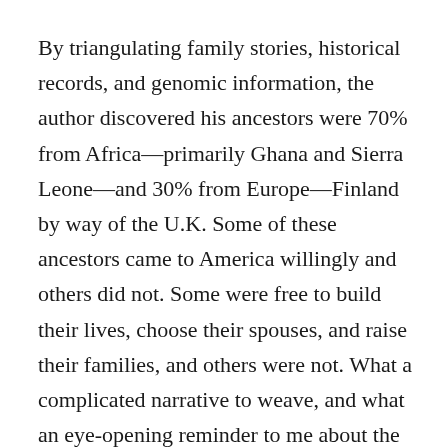By triangulating family stories, historical records, and genomic information, the author discovered his ancestors were 70% from Africa—primarily Ghana and Sierra Leone—and 30% from Europe—Finland by way of the U.K. Some of these ancestors came to America willingly and others did not. Some were free to build their lives, choose their spouses, and raise their families, and others were not. What a complicated narrative to weave, and what an eye-opening reminder to me about the luxury I have, generally knowing who my ancestors are and where they came from.
The author—who is a famous culinary and cultural historian—attempted to explore his identity and family